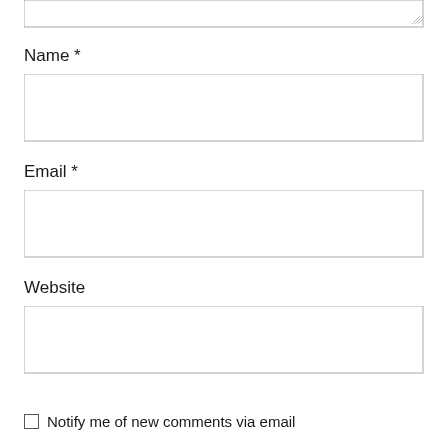[Figure (other): Top portion of a textarea input box with resize handle at bottom-right]
Name *
[Figure (other): Empty input field box for Name]
Email *
[Figure (other): Empty input field box for Email]
Website
[Figure (other): Empty input field box for Website]
Notify me of new comments via email